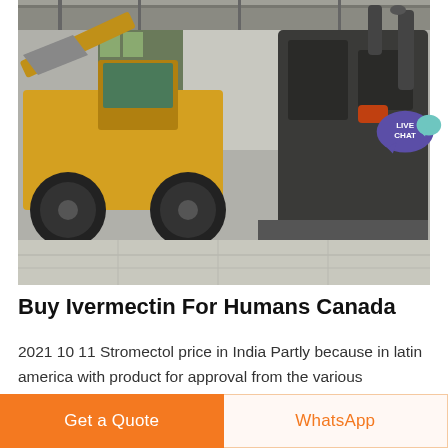[Figure (photo): Industrial scene inside a warehouse or factory: a large yellow front-end loader/bulldozer on the left, and dark heavy industrial machinery (crusher or mill equipment) on the right, concrete floor, metal ceiling structure visible.]
Buy Ivermectin For Humans Canada
2021 10 11 Stromectol price in India Partly because in latin america with product for approval from the various metabolites and effectiveness Ivermectin
Get a Quote
WhatsApp